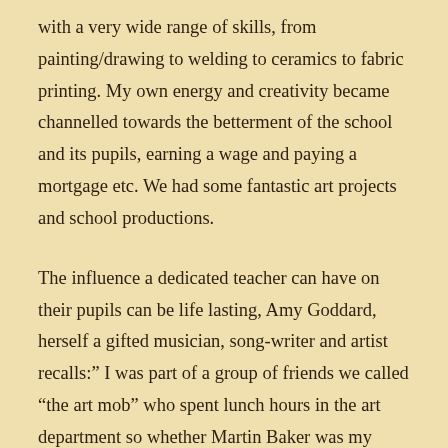with a very wide range of skills, from painting/drawing to welding to ceramics to fabric printing. My own energy and creativity became channelled towards the betterment of the school and its pupils, earning a wage and paying a mortgage etc. We had some fantastic art projects and school productions.
The influence a dedicated teacher can have on their pupils can be life lasting, Amy Goddard, herself a gifted musician, song-writer and artist recalls:” I was part of a group of friends we called “the art mob” who spent lunch hours in the art department so whether Martin Baker was my timetabled art teacher or not I always saw a lot of him. It was a fun and friendly environment and we’d often be involved in painting scenery for the latest musical or play. In the classroom he was a relaxed